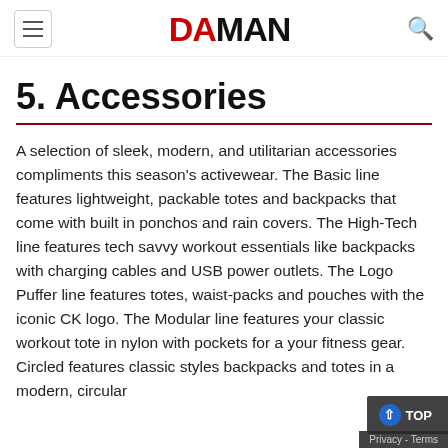DA MAN
5. Accessories
A selection of sleek, modern, and utilitarian accessories compliments this season's activewear. The Basic line features lightweight, packable totes and backpacks that come with built in ponchos and rain covers. The High-Tech line features tech savvy workout essentials like backpacks with charging cables and USB power outlets. The Logo Puffer line features totes, waist-packs and pouches with the iconic CK logo. The Modular line features your classic workout tote in nylon with pockets for a your fitness gear. Circled features classic styles backpacks and totes in a modern, circular